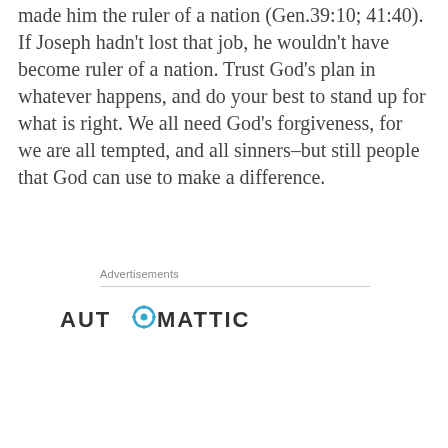made him the ruler of a nation (Gen.39:10; 41:40). If Joseph hadn't lost that job, he wouldn't have become ruler of a nation. Trust God's plan in whatever happens, and do your best to stand up for what is right. We all need God's forgiveness, for we are all tempted, and all sinners–but still people that God can use to make a difference.
Advertisements
[Figure (logo): Automattic logo with gear icon replacing the letter O]
Privacy & Cookies: This site uses cookies. By continuing to use this website, you agree to their use. To find out more, including how to control cookies, see here: Cookie Policy
Close and accept